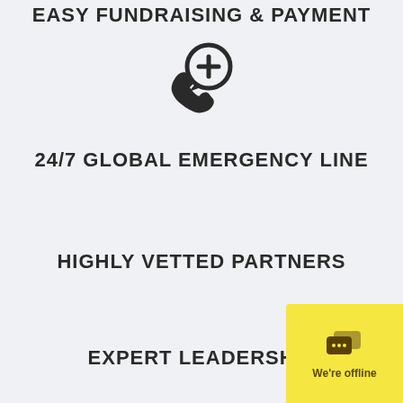EASY FUNDRAISING & PAYMENT
[Figure (illustration): Phone with medical cross chat bubble icon]
24/7 GLOBAL EMERGENCY LINE
HIGHLY VETTED PARTNERS
EXPERT LEADERSHIP
[Figure (other): Live chat widget with speech bubble icon and 'We're offline' text on yellow background]